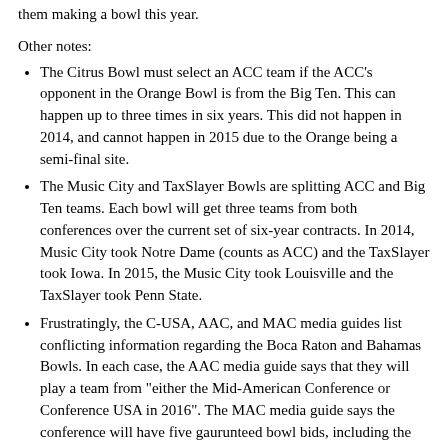them making a bowl this year.
Other notes:
The Citrus Bowl must select an ACC team if the ACC's opponent in the Orange Bowl is from the Big Ten. This can happen up to three times in six years. This did not happen in 2014, and cannot happen in 2015 due to the Orange being a semi-final site.
The Music City and TaxSlayer Bowls are splitting ACC and Big Ten teams. Each bowl will get three teams from both conferences over the current set of six-year contracts. In 2014, Music City took Notre Dame (counts as ACC) and the TaxSlayer took Iowa. In 2015, the Music City took Louisville and the TaxSlayer took Penn State.
Frustratingly, the C-USA, AAC, and MAC media guides list conflicting information regarding the Boca Raton and Bahamas Bowls. In each case, the AAC media guide says that they will play a team from "either the Mid-American Conference or Conference USA in 2016". The MAC media guide says the conference will have five gaurunteed bowl bids, including the Boca Raton and Bahamas bowls "as primary partners". In the matchup listing, they have it as "vs. American Athl./C-USA". The C-USA media guide says the conference has six gaurunteed bowl bids including the Boca Raton and Bahamas. For the Boca Raton, their media guide says they will play a team from the MAC in the Boca Raton and from the AAC or MAC in the Bahamas. The directory on the next page doesn't list the AAC for either. The Bahamas Bowl website says the team will come from two of the three conferences, while the Boca Raton website has the MAC's logo on it but says it will match the AAC and C-USA. My suspcion is that the real answer is that since ESPN controls almost all of these conferences'